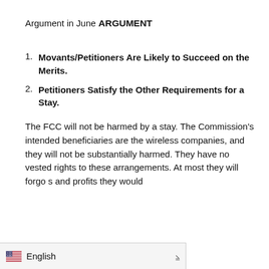Argument in June
ARGUMENT
Movants/Petitioners Are Likely to Succeed on the Merits.
Petitioners Satisfy the Other Requirements for a Stay.
The FCC will not be harmed by a stay. The Commission's intended beneficiaries are the wireless companies, and they will not be substantially harmed. They have no vested rights to these arrangements. At most they will forgo s and profits they would